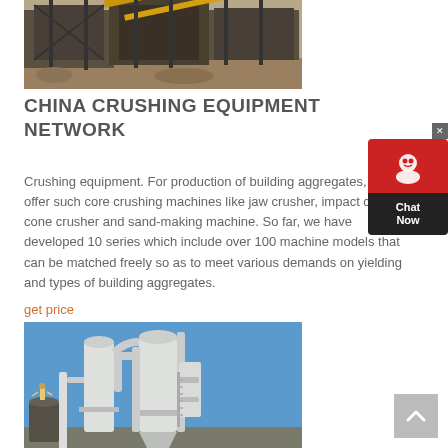[Figure (photo): Industrial crushing equipment facility with heavy machinery, conveyors and metal framework structures at a quarry or mining site]
CHINA CRUSHING EQUIPMENT NETWORK
Crushing equipment. For production of building aggregates, T... can offer such core crushing machines like jaw crusher, impact crusher, cone crusher and sand-making machine. So far, we have developed 10 series which include over 100 machine models that can be matched freely so as to meet various demands on yielding and types of building aggregates.
get price
[Figure (photo): Industrial grinding mill or powder processing equipment with large white cylindrical towers and pipe systems against a blue sky, with a worker visible]